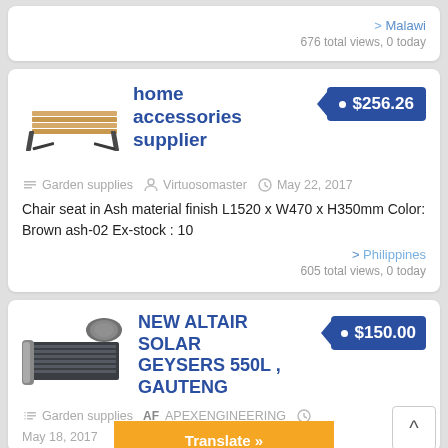> Malawi
676 total views, 0 today
home accessories supplier
$256.26
[Figure (photo): Wooden bench with black metal legs]
Garden supplies  Virtuosomaster  May 22, 2017
Chair seat in Ash material finish L1520 x W470 x H350mm Color: Brown ash-02 Ex-stock : 10
> Philippines
605 total views, 0 today
NEW ALTAIR SOLAR GEYSERS 550L , GAUTENG
$150.00
[Figure (photo): Solar geyser panel product image]
Garden supplies  APEXENGINEERING  May 18, 2017